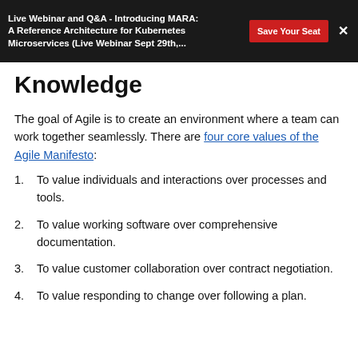Live Webinar and Q&A - Introducing MARA: A Reference Architecture for Kubernetes Microservices (Live Webinar Sept 29th,... | Save Your Seat | ×
Knowledge
The goal of Agile is to create an environment where a team can work together seamlessly. There are four core values of the Agile Manifesto:
To value individuals and interactions over processes and tools.
To value working software over comprehensive documentation.
To value customer collaboration over contract negotiation.
To value responding to change over following a plan.